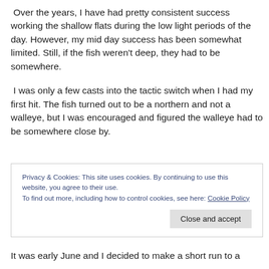Over the years, I have had pretty consistent success working the shallow flats during the low light periods of the day. However, my mid day success has been somewhat limited. Still, if the fish weren't deep, they had to be somewhere.
I was only a few casts into the tactic switch when I had my first hit. The fish turned out to be a northern and not a walleye, but I was encouraged and figured the walleye had to be somewhere close by.
Privacy & Cookies: This site uses cookies. By continuing to use this website, you agree to their use.
To find out more, including how to control cookies, see here: Cookie Policy
It was early June and I decided to make a short run to a